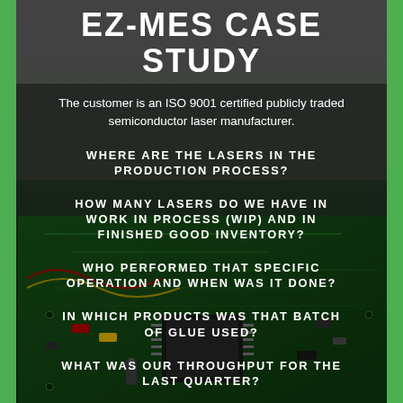[Figure (photo): Background photo of green circuit board / PCB with electronic components, dark blurred background, used as page backdrop]
EZ-MES CASE STUDY
The customer is an ISO 9001 certified publicly traded semiconductor laser manufacturer.
WHERE ARE THE LASERS IN THE PRODUCTION PROCESS?
HOW MANY LASERS DO WE HAVE IN WORK IN PROCESS (WIP) AND IN FINISHED GOOD INVENTORY?
WHO PERFORMED THAT SPECIFIC OPERATION AND WHEN WAS IT DONE?
IN WHICH PRODUCTS WAS THAT BATCH OF GLUE USED?
WHAT WAS OUR THROUGHPUT FOR THE LAST QUARTER?